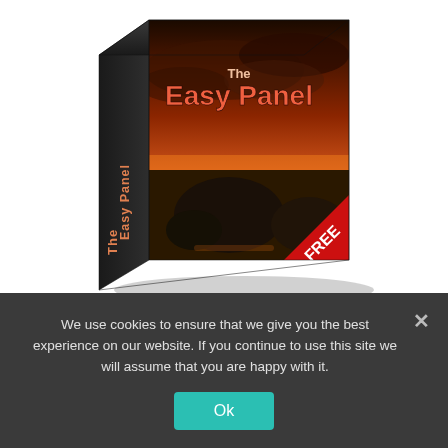[Figure (illustration): 3D product box for 'The Easy Panel' software/plugin, showing a dramatic sunset landscape with boulders on a beach. The box has a red triangle badge in the bottom-right corner with 'FREE' text in white. Text on the box spine reads 'The Easy Panel'. The box art shows orange/red sky and dark rocks.]
Download the free Easy Panel, like over 150k others, and try out luminosity masks for
We use cookies to ensure that we give you the best experience on our website. If you continue to use this site we will assume that you are happy with it.
Ok